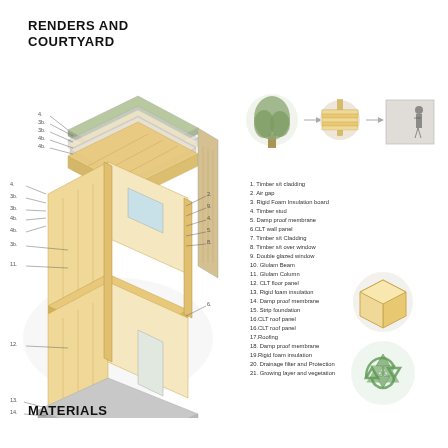RENDERS AND COURTYARD
[Figure (engineering-diagram): Exploded axonometric diagram of a CLT timber building showing numbered layers including: 1.Timber s/t cladding, 2.Air gap, 3.Rigid Foam Insulation board, 4.Timber stud, 5.Damp proof membrane, 6.CLT wall panel, 7.Timber s/t Cladding, 8.Timber s/t over window, 9.Double glazed window, 10.Glulam Beam, 11.Glulam Column, 12.CLT floor panel, 13.Rigid foam insulation, 14.Damp proof membrane, 15.Strip foundation, 16.CLT roof panel, 16.CLT roof panel, 17.Roofing, 18.Damp proof membrane, 19.Rigid foam insulation, 20.Drainage filter and Protection, 21.Growing layer and vegetation]
[Figure (illustration): Three circular/rectangular icons showing: a tree silhouette, a CLT panel cross-section, and a person standing next to a wall panel for scale]
[Figure (illustration): Isometric view of a small timber module/box]
[Figure (illustration): Recycling symbol icon]
MATERIALS